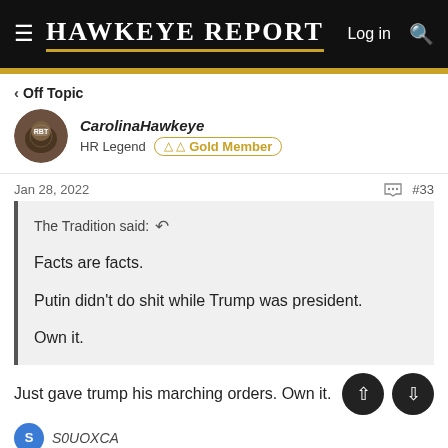HAWKEYE REPORT — Log in
< Off Topic
CarolinaHawkeye
HR Legend  Gold Member
Jan 28, 2022  #33
The Tradition said:
Facts are facts.
Putin didn't do shit while Trump was president.
Own it.
Just gave trump his marching orders. Own it.